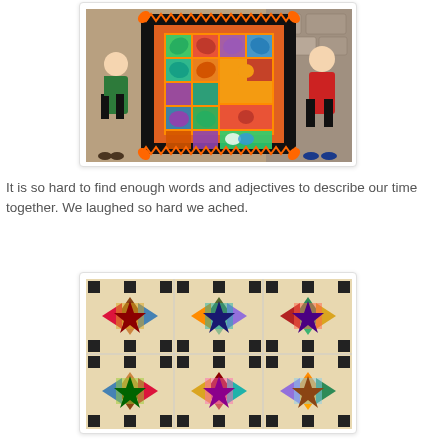[Figure (photo): Two women holding up a large colorful quilt with leaf/flower patterns and a black zigzag border, displayed in a room with stone wall background.]
It is so hard to find enough words and adjectives to describe our time together.  We laughed so hard we ached.
[Figure (photo): Close-up of a quilt with star block patterns in earth tones and black accents, showing multiple quilt blocks in a row.]